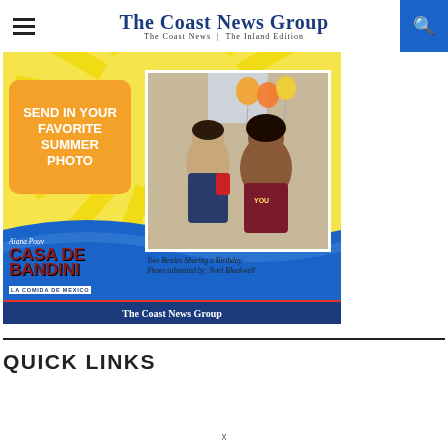The Coast News Group | The Coast News | The Inland Edition
[Figure (photo): Advertisement for The Coast News Group summer photo contest, sponsored by Casa de Bandini. Features an orange rounded box saying 'SEND IN YOUR FAVORITE SUMMER PHOTO', a photo of two girls sharing a birthday with balloons, the Casa de Bandini logo, and The Coast News Group branding at the bottom. Caption: 'Two Besties Sharing a Birthday Photo submitted by: Noel Blackwell']
QUICK LINKS